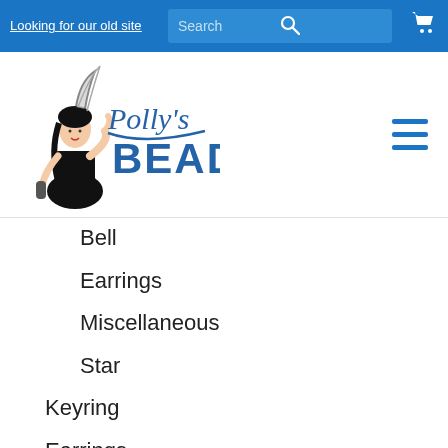Looking for our old site | Search bar | Cart icon
[Figure (logo): Polly's Beads logo with illustrated woman and stylized text]
Bell
Earrings
Miscellaneous
Star
Keyring
Earrings
Bracelet
Miscellaneous
Easter
Glasses Holders